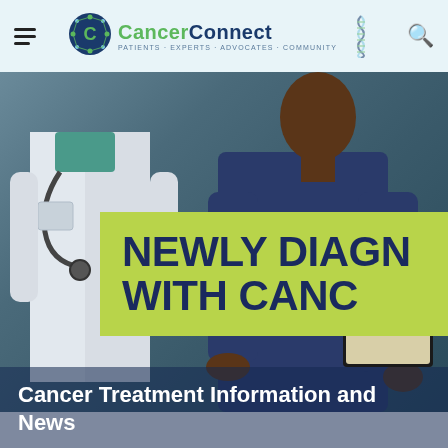CancerConnect — Patients · Experts · Advocates · Community
[Figure (photo): Two medical professionals — a doctor in a white coat with a stethoscope on the left, and a healthcare worker in scrubs holding a clipboard on the right — shown from the chest down against a dark blue-grey background, with a large yellow-green banner overlay reading 'NEWLY DIAGNOSED WITH CANCER']
NEWLY DIAGNOSED WITH CANCER
Cancer Treatment Information and News